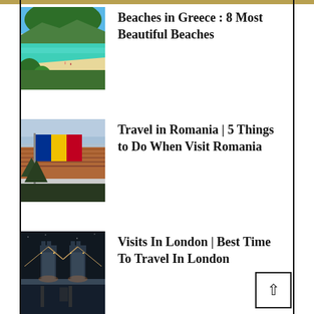[Figure (photo): Scenic Greek beach with turquoise water, forested hillside, and sandy shore]
Beaches in Greece : 8 Most Beautiful Beaches
[Figure (photo): Aerial view of Romanian city with Romanian flag (blue, yellow, red) in foreground]
Travel in Romania | 5 Things to Do When Visit Romania
[Figure (photo): Nighttime photo of Tower Bridge in London illuminated with lights reflected on river Thames]
Visits In London | Best Time To Travel In London